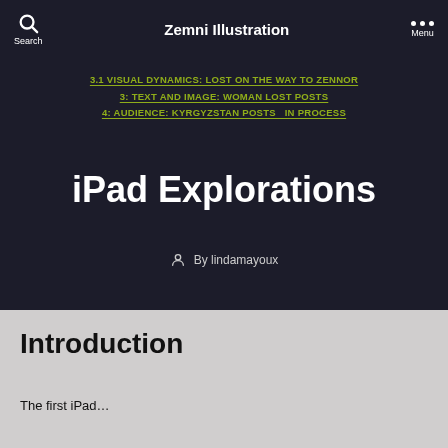Search   Zemni Illustration   Menu
3.1 VISUAL DYNAMICS: LOST ON THE WAY TO ZENNOR
3: TEXT AND IMAGE: WOMAN LOST POSTS
4: AUDIENCE: KYRGYZSTAN POSTS   IN PROCESS
iPad Explorations
By lindamayoux
Introduction
The first iPad…